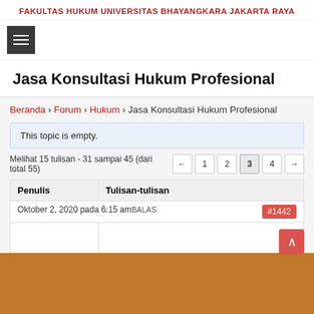FAKULTAS HUKUM UNIVERSITAS BHAYANGKARA JAKARTA RAYA
Jasa Konsultasi Hukum Profesional
Beranda › Forum › Hukum › Jasa Konsultasi Hukum Profesional
This topic is empty.
Melihat 15 tulisan - 31 sampai 45 (dari total 55)
| Penulis | Tulisan-tulisan |
| --- | --- |
| Oktober 2, 2020 pada 6:15 am BALAS | #1442 |
Oktober 2, 2020 pada 6:15 amBALAS #1442